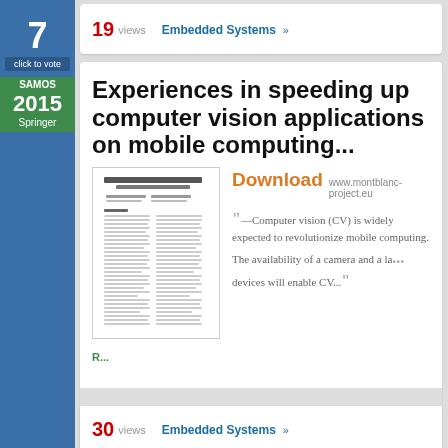19 views
Embedded Systems »
7 click to vote
SAMOS 2015 Springer
Experiences in speeding up computer vision applications on mobile computing devices
[Figure (other): Thumbnail image of the paper document]
Download www.montblanc-project.eu
"—Computer vision (CV) is widely expected to revolutionize mobile computing. The availability of a camera and a large set of sensors on these devices will enable CV..."
claim paper
30 views
Embedded Systems »